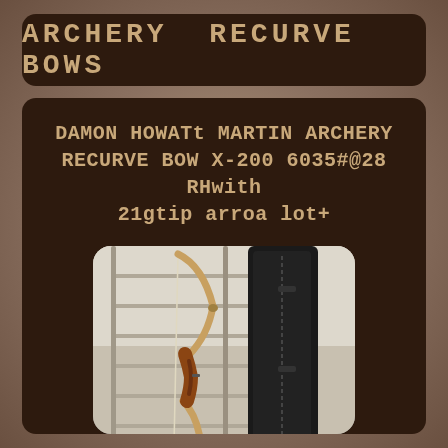ARCHERY RECURVE BOWS
DAMON HOWATt MARTIN ARCHERY RECURVE BOW X-200 6035#@28 RHwith 21gtip arroa lot+
[Figure (photo): Photo of a recurve bow (wooden riser with curved limbs) leaning against metal rack shelving alongside a black bow case/bag]